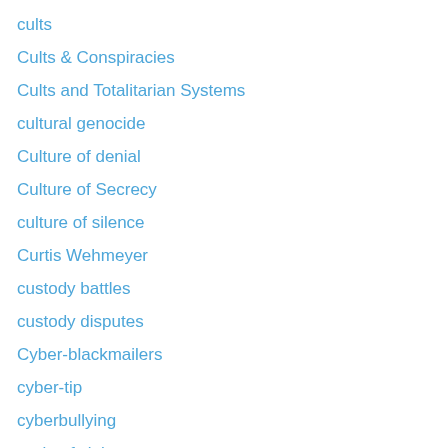cults
Cults & Conspiracies
Cults and Totalitarian Systems
cultural genocide
Culture of denial
Culture of Secrecy
culture of silence
Curtis Wehmeyer
custody battles
custody disputes
Cyber-blackmailers
cyber-tip
cyberbullying
cycle of violence
Cynthia Henrie
Cyril Smith
D C Hammond
Dale Griffis
Dame Janet Smith Review
Dan and Fran Keller